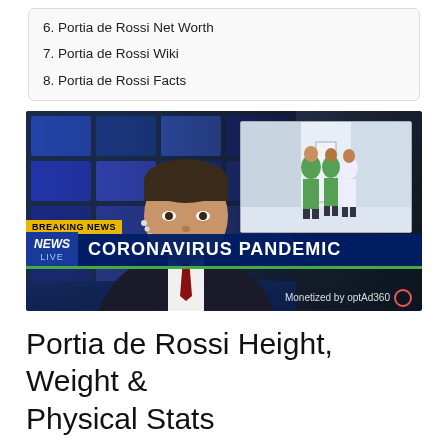6. Portia de Rossi Net Worth
7. Portia de Rossi Wiki
8. Portia de Rossi Facts
[Figure (screenshot): TV news broadcast screenshot showing a male news anchor in a dark suit with red tie against a TV studio background with multiple screens. An inset image shows medical workers in scrubs walking in a hospital corridor. The lower third shows 'BREAKING NEWS' in yellow, and a dark blue bar reading 'NEWS LIVE | CORONAVIRUS PANDEMIC'. Bottom right shows 'Monetized by optAd360' logo.]
Portia de Rossi Height, Weight & Physical Stats